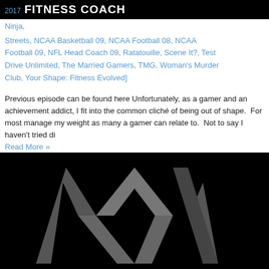FITNESS COACH
Ninja,
Streets, NCAA Basketball 09, NCAA Football 08, NCAA Football 09, NFL Head Coach 09, Ratatouille, Scene It?, Test Drive Unlimited, The Married Gamers, TMG, Woman's Murder Club, Your Shape: Fitness Evolved]
Previous episode can be found here Unfortunately, as a gamer and an achievement addict, I fit into the common cliché of being out of shape.  For most of my life I have had trouble managing my weight as many a gamer can relate to.  Not to say I haven't tried di
Read More »
[Figure (logo): Black background with a stylized gray 'M' logo (The Married Gamers logo)]
Written in Opinion
TOP 5 BEST COLLECTOR'S EDITIONS
[Assas… v, Halo Reach, Record of Agarest War, The Married Gamers,